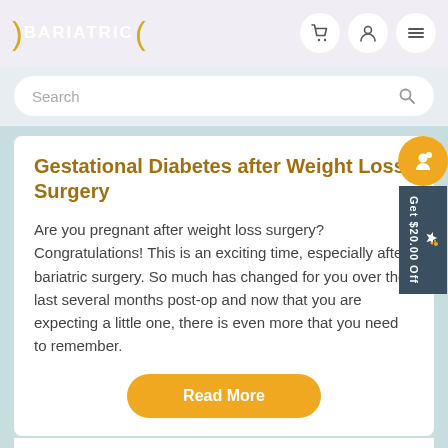BARIATRIC
Gestational Diabetes after Weight Loss Surgery
Are you pregnant after weight loss surgery? Congratulations! This is an exciting time, especially after bariatric surgery. So much has changed for you over the last several months post-op and now that you are expecting a little one, there is even more that you need to remember.
Read More
Aug 27, 2021   Kimberly H.
Tags:   Bariatric Blog   Bariatric Food Source